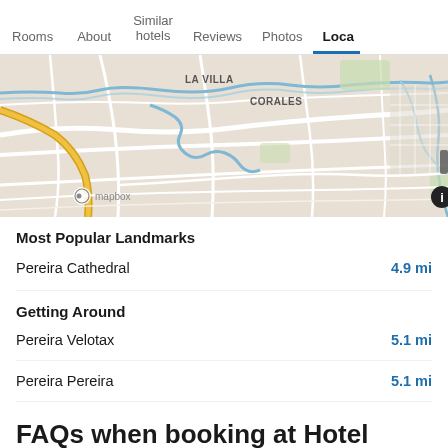Rooms | About | Similar hotels | Reviews | Photos | Loca
[Figure (map): Street map showing La Villa Corales area near Pereira, Colombia. Map rendered via Mapbox.]
Most Popular Landmarks
Pereira Cathedral  4.9 mi
Getting Around
Pereira Velotax  5.1 mi
Pereira Pereira  5.1 mi
FAQs when booking at Hotel Pueblito Cafetero